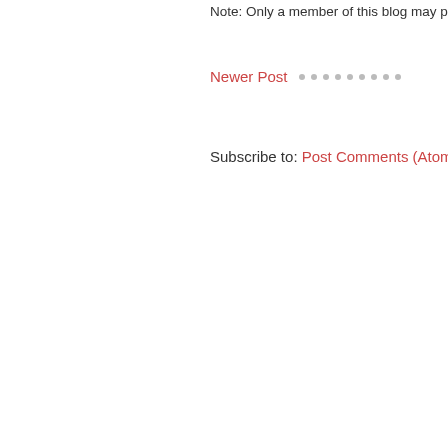Note: Only a member of this blog may p
Newer Post · · · · · · · · ·
Subscribe to: Post Comments (Atom)